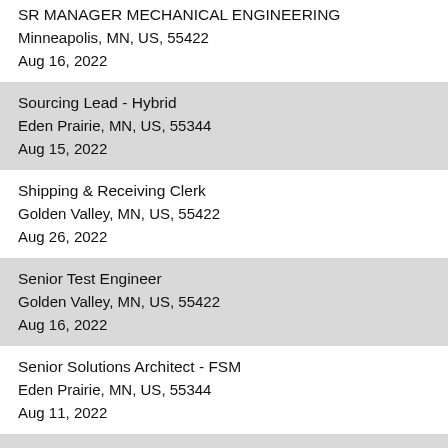SR MANAGER MECHANICAL ENGINEERING
Minneapolis, MN, US, 55422
Aug 16, 2022
Sourcing Lead - Hybrid
Eden Prairie, MN, US, 55344
Aug 15, 2022
Shipping & Receiving Clerk
Golden Valley, MN, US, 55422
Aug 26, 2022
Senior Test Engineer
Golden Valley, MN, US, 55422
Aug 16, 2022
Senior Solutions Architect - FSM
Eden Prairie, MN, US, 55344
Aug 11, 2022
Senior IT Manager
Eden Prairie, MN, US, 55344
Aug 23, 2022